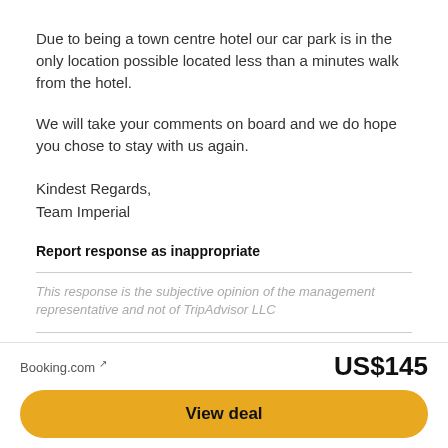Due to being a town centre hotel our car park is in the only location possible located less than a minutes walk from the hotel.
We will take your comments on board and we do hope you chose to stay with us again.
Kindest Regards,
Team Imperial
Report response as inappropriate
This response is the subjective opinion of the management representative and not of TripAdvisor LLC
Previous
Next
1  2  3  4  ...
Booking.com ↗
US$145
View deal